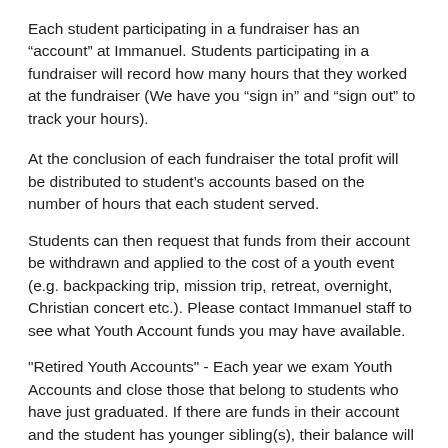Each student participating in a fundraiser has an “account” at Immanuel. Students participating in a fundraiser will record how many hours that they worked at the fundraiser (We have you “sign in” and “sign out” to track your hours).
At the conclusion of each fundraiser the total profit will be distributed to student’s accounts based on the number of hours that each student served.
Students can then request that funds from their account be withdrawn and applied to the cost of a youth event (e.g. backpacking trip, mission trip, retreat, overnight, Christian concert etc.). Please contact Immanuel staff to see what Youth Account funds you may have available.
"Retired Youth Accounts" - Each year we exam Youth Accounts and close those that belong to students who have just graduated. If there are funds in their account and the student has younger sibling(s), their balance will be transfered to the sibling(s). If there are no younger siblings, the remaining balance will be transfered to the Youth Scholarship fund at Immanuel to help other students attend